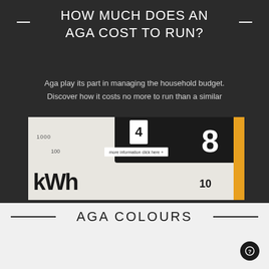HOW MUCH DOES AN AGA COST TO RUN?
Aga play its part in managing the household budget. Discover how it costs no more to run than a similar conventional cooker.
[Figure (photo): Close-up photo of a kWh electricity meter showing digits including 8, and labels kWh, 1000, 100, 10 on a white dial background with a black housing and orange strip on the right side. A small button overlay reads 'more information click here +']
AGA COLOURS